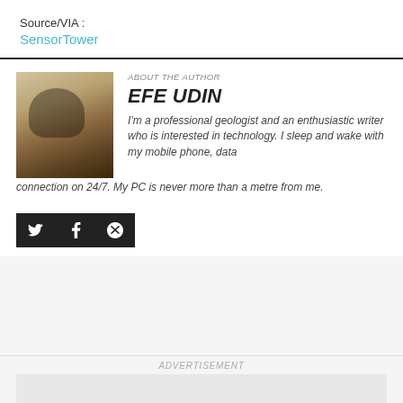Source/VIA :
SensorTower
ABOUT THE AUTHOR
EFE UDIN
[Figure (photo): Portrait photo of Efe Udin wearing sunglasses]
I'm a professional geologist and an enthusiastic writer who is interested in technology. I sleep and wake with my mobile phone, data connection on 24/7. My PC is never more than a metre from me.
[Figure (infographic): Social media icons bar with Twitter, Facebook, and Snapchat icons on black background]
ADVERTISEMENT